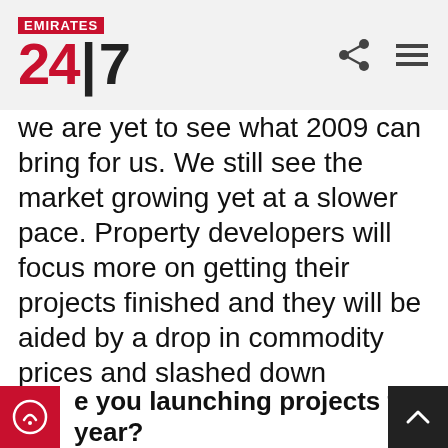Emirates 24|7
we are yet to see what 2009 can bring for us. We still see the market growing yet at a slower pace. Property developers will focus more on getting their projects finished and they will be aided by a drop in commodity prices and slashed down construction costs. Property is never a deal of loss as it is always something that is in constant demand. It is the personal position of the property holder that makes it so. The real estate market is experiencing the effects of a global credit crunch but there are investors who are still on the lookout for a good bargain.
e you launching projects this year?